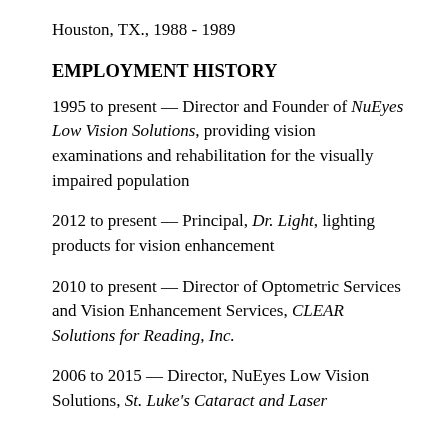Houston, TX., 1988 - 1989
EMPLOYMENT HISTORY
1995 to present — Director and Founder of NuEyes Low Vision Solutions, providing vision examinations and rehabilitation for the visually impaired population
2012 to present — Principal, Dr. Light, lighting products for vision enhancement
2010 to present — Director of Optometric Services and Vision Enhancement Services, CLEAR Solutions for Reading, Inc.
2006 to 2015 — Director, NuEyes Low Vision Solutions, St. Luke's Cataract and Laser